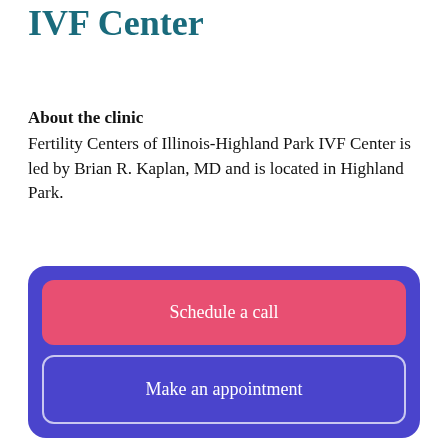IVF Center
About the clinic
Fertility Centers of Illinois-Highland Park IVF Center is led by Brian R. Kaplan, MD and is located in Highland Park.
Medical director
Schedule a call
Make an appointment